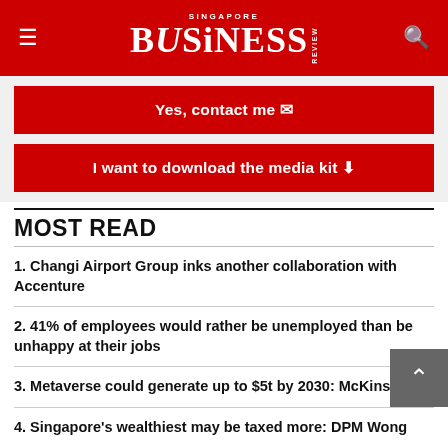SINGAPORE BUSINESS REVIEW
[Figure (other): Red button: Yes, contact me with envelope icon]
[Figure (other): Red button: I want to download the media kit with download icon]
MOST READ
1. Changi Airport Group inks another collaboration with Accenture
2. 41% of employees would rather be unemployed than be unhappy at their jobs
3. Metaverse could generate up to $5t by 2030: McKinsey
4. Singapore's wealthiest may be taxed more: DPM Wong